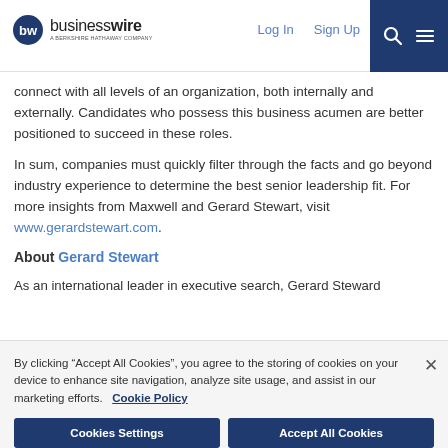businesswire — A Berkshire Hathaway Company | Log In | Sign Up
connect with all levels of an organization, both internally and externally. Candidates who possess this business acumen are better positioned to succeed in these roles.
In sum, companies must quickly filter through the facts and go beyond industry experience to determine the best senior leadership fit. For more insights from Maxwell and Gerard Stewart, visit www.gerardstewart.com.
About Gerard Stewart
As an international leader in executive search, Gerard Steward
By clicking “Accept All Cookies”, you agree to the storing of cookies on your device to enhance site navigation, analyze site usage, and assist in our marketing efforts.   Cookie Policy
Cookies Settings | Accept All Cookies